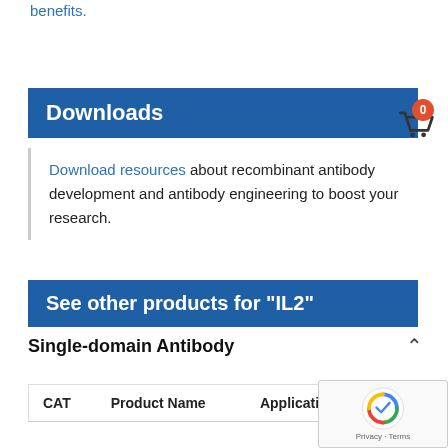benefits.
Downloads
Download resources about recombinant antibody development and antibody engineering to boost your research.
See other products for "IL2"
Single-domain Antibody
| CAT | Product Name | Application | T |
| --- | --- | --- | --- |